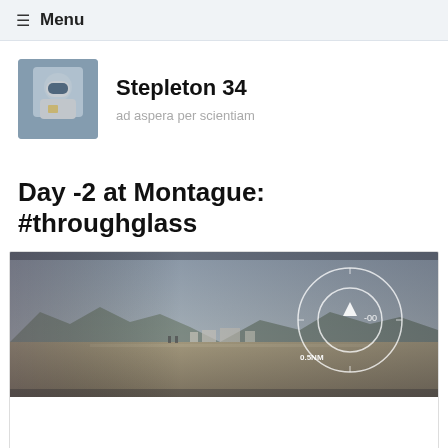≡ Menu
Stepleton 34
ad aspera per scientiam
Day -2 at Montague: #throughglass
[Figure (photo): A wide landscape photo taken through Google Glass HUD showing an airfield or desert valley with mountains in the background, overlaid with a circular targeting/compass HUD interface showing a triangle indicator labeled '-00' and distance marker '0.5NM']